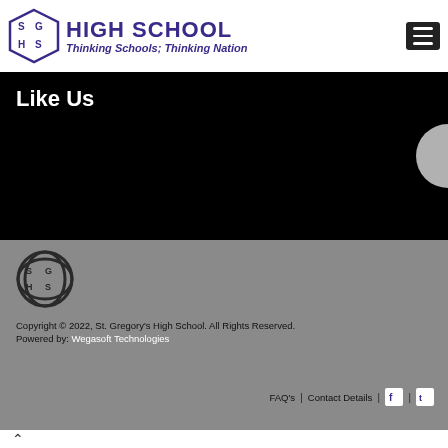[Figure (logo): SGHS school logo - stylized letters in dark blue on white background]
HIGH SCHOOL
Thinking Schools; Thinking Nation
Like Us
[Figure (logo): SGHS footer logo - circular badge style in dark gray on gray background]
Copyright © 2022, St. Gregory's High School. All Rights Reserved.
Powered by: Wegasoft Technologies
FAQ's | Contact Details | f | twitter